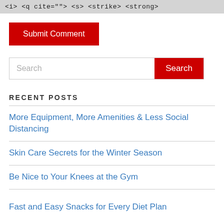<i> <q cite=""> <s> <strike> <strong>
Submit Comment
Search
RECENT POSTS
More Equipment, More Amenities & Less Social Distancing
Skin Care Secrets for the Winter Season
Be Nice to Your Knees at the Gym
Fast and Easy Snacks for Every Diet Plan